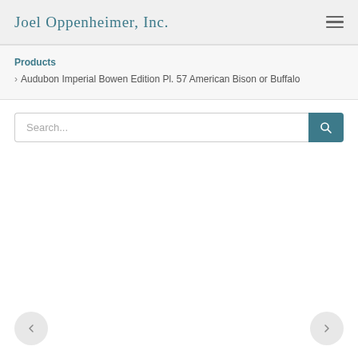Joel Oppenheimer, Inc.
Products
> Audubon Imperial Bowen Edition Pl. 57 American Bison or Buffalo
Search...